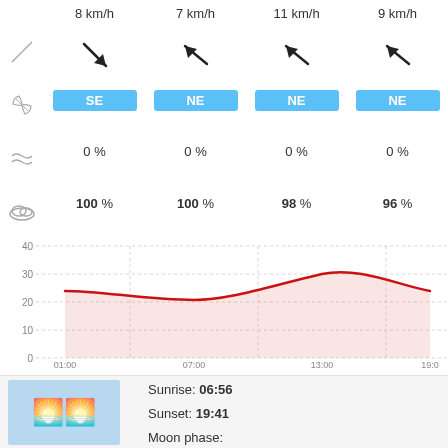8 km/h
7 km/h
11 km/h
9 km/h
SE
NE
NE
NE
0 %
0 %
0 %
0 %
100 %
100 %
98 %
96 %
[Figure (line-chart): Temperature over time]
[Figure (illustration): Sunrise/sunset illustration with sun icons and horizon]
Sunrise: 06:56
Sunset: 19:41
Moon phase: